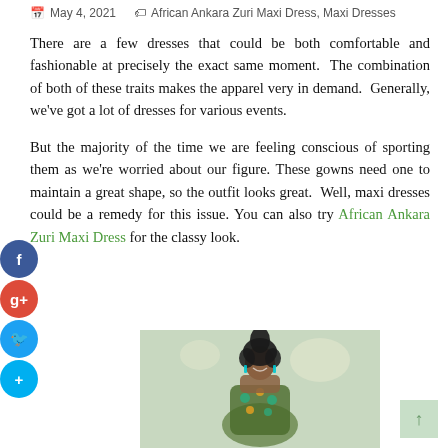May 4, 2021   African Ankara Zuri Maxi Dress, Maxi Dresses
There are a few dresses that could be both comfortable and fashionable at precisely the exact same moment.  The combination of both of these traits makes the apparel very in demand.  Generally, we've got a lot of dresses for various events.
But the majority of the time we are feeling conscious of sporting them as we're worried about our figure. These gowns need one to maintain a great shape, so the outfit looks great.  Well, maxi dresses could be a remedy for this issue. You can also try African Ankara Zuri Maxi Dress for the classy look.
[Figure (photo): A woman wearing an African Ankara Zuri Maxi Dress with a colorful green and gold pattern, smiling, with curly hair, in an indoor venue.]